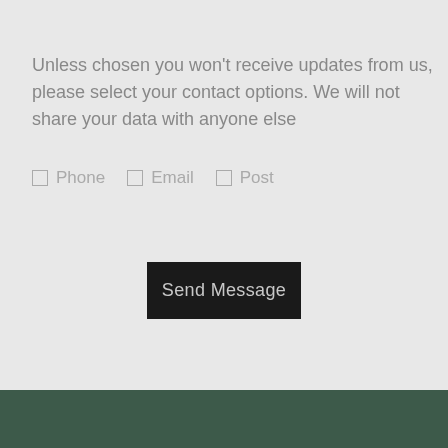Unless chosen you won't receive updates from us, please select your contact options. We will not share your data with anyone else
☐ Phone   ☐ Email   ☐ Post
Send Message
[Figure (screenshot): Bottom portion showing a Google search bar overlay on a dark green background]